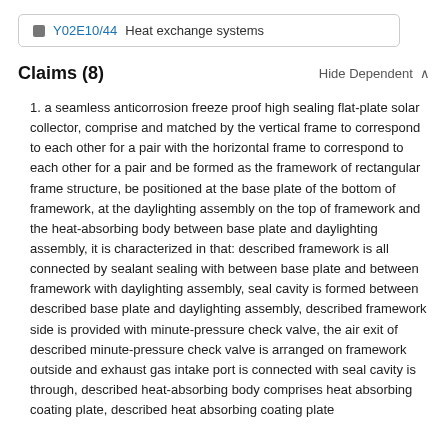Y02E10/44  Heat exchange systems
Claims (8)
1. a seamless anticorrosion freeze proof high sealing flat-plate solar collector, comprise and matched by the vertical frame to correspond to each other for a pair with the horizontal frame to correspond to each other for a pair and be formed as the framework of rectangular frame structure, be positioned at the base plate of the bottom of framework, at the daylighting assembly on the top of framework and the heat-absorbing body between base plate and daylighting assembly, it is characterized in that: described framework is all connected by sealant sealing with between base plate and between framework with daylighting assembly, seal cavity is formed between described base plate and daylighting assembly, described framework side is provided with minute-pressure check valve, the air exit of described minute-pressure check valve is arranged on framework outside and exhaust gas intake port is connected with seal cavity is through, described heat-absorbing body comprises heat absorbing coating plate, described heat absorbing coating plate